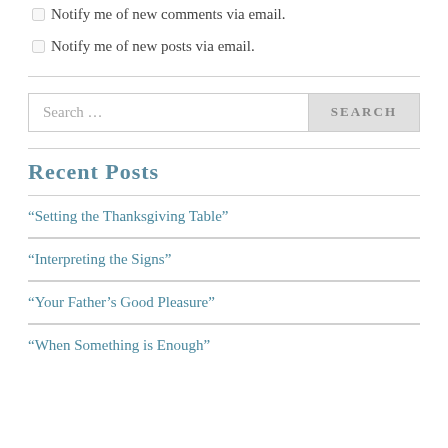Notify me of new comments via email.
Notify me of new posts via email.
[Figure (other): Search bar with text input field labeled 'Search …' and a SEARCH button]
Recent Posts
“Setting the Thanksgiving Table”
“Interpreting the Signs”
“Your Father’s Good Pleasure”
“When Something is Enough”